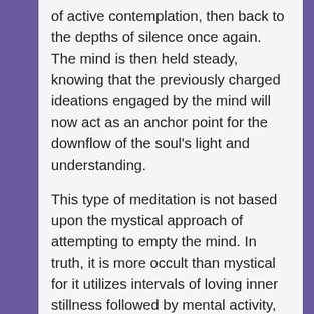of active contemplation, then back to the depths of silence once again. The mind is then held steady, knowing that the previously charged ideations engaged by the mind will now act as an anchor point for the downflow of the soul's light and understanding.
This type of meditation is not based upon the mystical approach of attempting to empty the mind. In truth, it is more occult than mystical for it utilizes intervals of loving inner stillness followed by mental activity, and is practiced in a remarkably purposeful way. Through it, the mind becomes illuminated with new understandings specifically related to the mental theme that was selected. And, as a consequence, the meditator is better equipped to utilize the gained insights in service to human betterment. Such is the nature of meditation with seed.